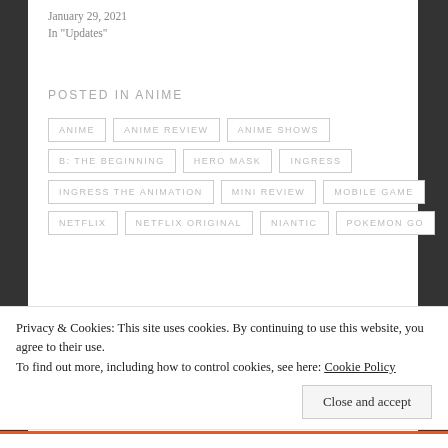January 29, 2021
In "Updates"
POSTED IN ANIME
ANIME
ANIME REVIEW
ANIME SHOWS
B: THE BEGINNING
HERO MASK
INGRESS
INGRESS THE ANIMATION
MINI REVIEW
MOBILE GAME
NETFLIX
NETFLIX ORIGINAL
NIANTIC
POKEMON GO
Published by Jay
Privacy & Cookies: This site uses cookies. By continuing to use this website, you agree to their use.
To find out more, including how to control cookies, see here: Cookie Policy
Close and accept